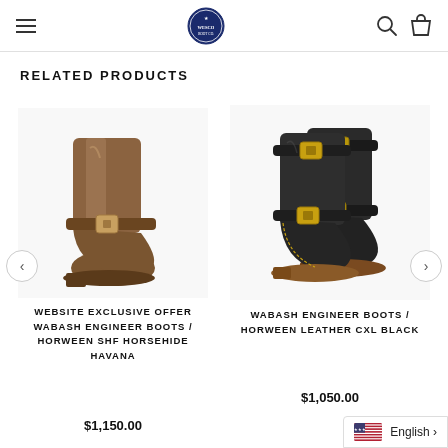Navigation header with hamburger menu, brand logo, search and cart icons
RELATED PRODUCTS
[Figure (photo): Brown leather engineer boots with buckle strap, side view on white background]
WEBSITE EXCLUSIVE OFFER WABASH ENGINEER BOOTS / HORWEEN SHF HORSEHIDE HAVANA
$1,150.00
[Figure (photo): Black leather engineer boots with buckle strap, pair shown on white background]
WABASH ENGINEER BOOTS / HORWEEN LEATHER CXL BLACK
$1,050.00
English